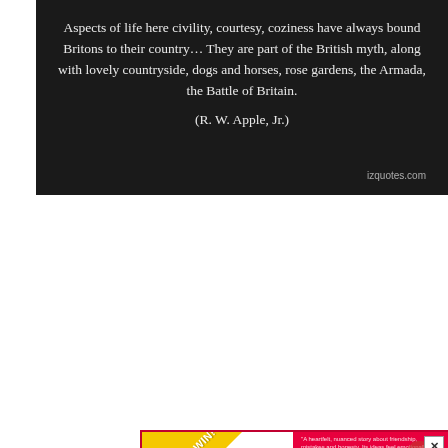[Figure (illustration): Dark quote card with white text reading 'Aspects of life here civility, courtesy, coziness have always bound Britons to their country… They are part of the British myth, along with lovely countryside, dogs and horses, rose gardens, the Armada, the Battle of Britain.' attributed to (R. W. Apple, Jr.) with izquotes.com watermark]
[Figure (illustration): Advertisement for a Zoom event with best-selling author Elly Swartz featuring the book 'Dear Student'. White left panel shows BID TO WIN banner, ZOOM w/ BEST-SELLING AUTHOR ELLY SWARTZ text. Right panel shows red book cover with illustrated girl and text 'dear student'. Bottom pink band reads: Meet her with your school, school district, or writer's group! Proceeds benefit TABC Book Drop (Writer's Cubed, a 501c3).]